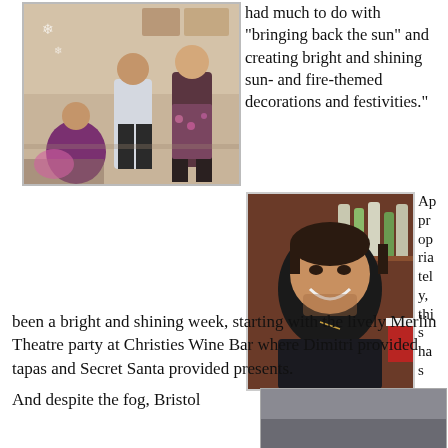[Figure (photo): Indoor party scene with two women standing, one in floral dress, one in dark outfit, decorations visible on walls]
had much to do with "bringing back the sun" and creating bright and shining sun- and fire-themed decorations and festivities."
[Figure (photo): Portrait of a smiling young man with dark hair and stubble, standing in front of a bar with bottles]
Appropriately, this has been a bright and shining week, starting with the lively Merlin Theatre party at Christies Wine Bar where Dimitri provided tapas and Secret Santa provided presents.
And despite the fog, Bristol
[Figure (photo): Foggy outdoor scene, grey sky]